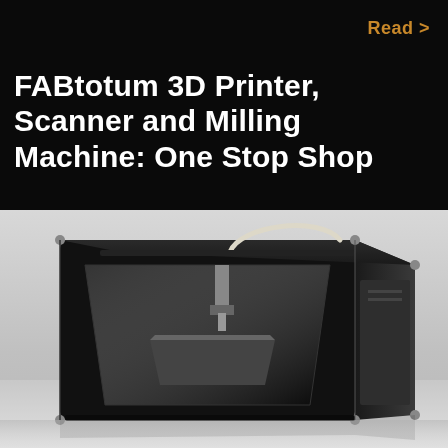Read >
FABtotum 3D Printer, Scanner and Milling Machine: One Stop Shop
[Figure (photo): FABtotum 3D printer, scanner and milling machine — a black cubic desktop fabrication device with transparent front door panel showing internal print bed, and a white filament tube looping over the top.]